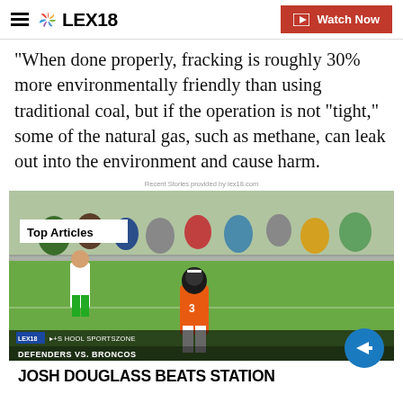LEX18 — Watch Now
When done properly, fracking is roughly 30% more environmentally friendly than using traditional coal, but if the operation is not “tight,” some of the natural gas, such as methane, can leak out into the environment and cause harm.
[Figure (screenshot): Video thumbnail showing a football player in an orange uniform running on a field. Overlay text reads: Top Articles, DEFENDERS VS. BRONCOS, JOSH DOUGLASS BEATS STATION. Sports zone lower-third graphic with LEX18 branding.]